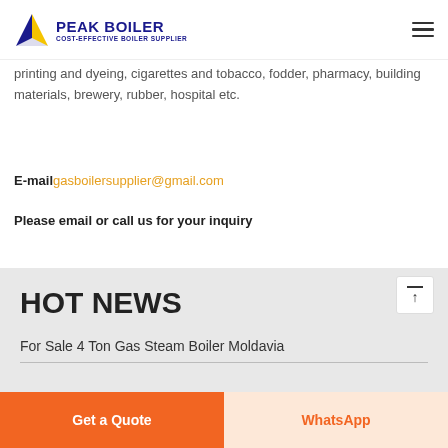PEAK BOILER COST-EFFECTIVE BOILER SUPPLIER
printing and dyeing, cigarettes and tobacco, fodder, pharmacy, building materials, brewery, rubber, hospital etc.
E-mail	gasboilersupplier@gmail.com
Please email or call us for your inquiry
HOT NEWS
For Sale 4 Ton Gas Steam Boiler Moldavia
Get a Quote
WhatsApp